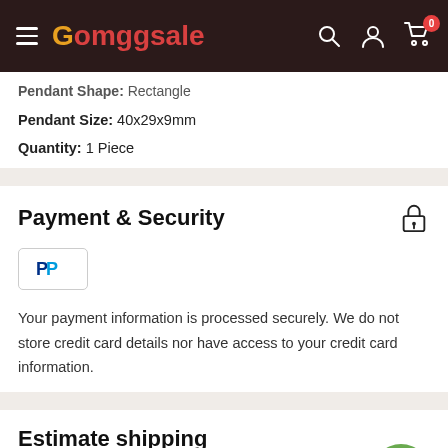Gomggsale
Pendant Shape: Rectangle
Pendant Size: 40x29x9mm
Quantity: 1 Piece
Payment & Security
[Figure (logo): PayPal logo button]
Your payment information is processed securely. We do not store credit card details nor have access to your credit card information.
Estimate shipping